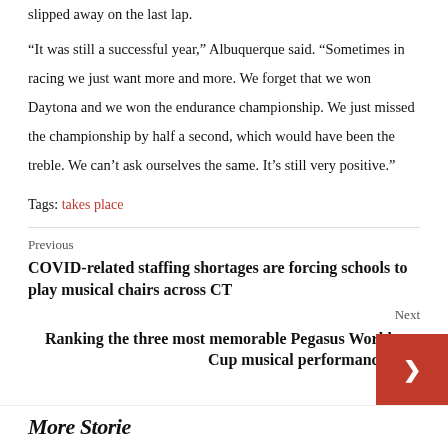slipped away on the last lap.
“It was still a successful year,” Albuquerque said. “Sometimes in racing we just want more and more. We forget that we won Daytona and we won the endurance championship. We just missed the championship by half a second, which would have been the treble. We can’t ask ourselves the same. It’s still very positive.”
Tags: takes place
Previous
COVID-related staffing shortages are forcing schools to play musical chairs across CT
Next
Ranking the three most memorable Pegasus World Cup musical performances